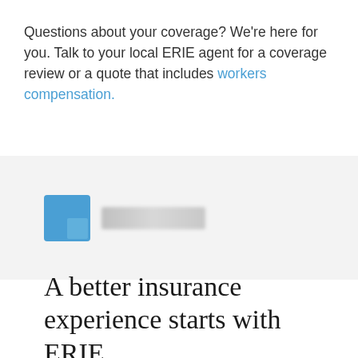Questions about your coverage? We're here for you. Talk to your local ERIE agent for a coverage review or a quote that includes workers compensation.
[Figure (logo): Blurred ERIE Insurance logo on a light grey background, showing a blue square icon followed by blurred text]
A better insurance experience starts with ERIE.